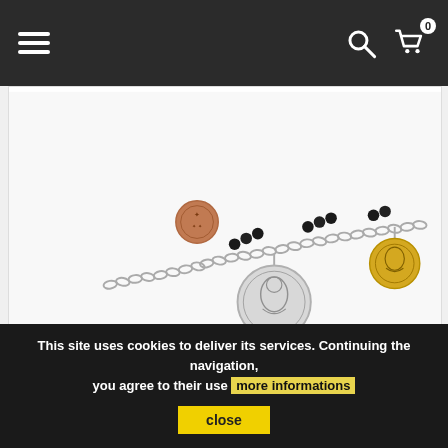Navigation bar with hamburger menu, search icon, and cart (0 items)
[Figure (photo): Close-up photo of a silver 925 bracelet with black crystal beads and three coin charms: one rose gold, one silver, one yellow gold, on a chain.]
NALBORI Bracelet Silver 925...
€39.90 €28.90
This site uses cookies to deliver its services. Continuing the navigation, you agree to their use more informations close